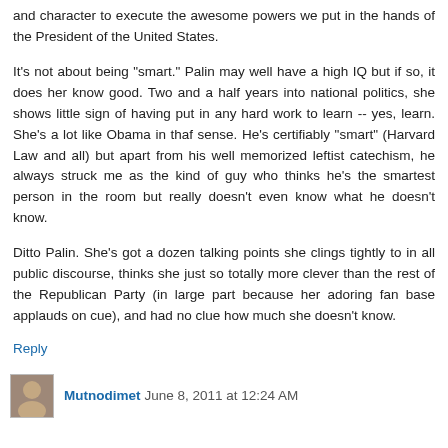and character to execute the awesome powers we put in the hands of the President of the United States.
It's not about being "smart." Palin may well have a high IQ but if so, it does her know good. Two and a half years into national politics, she shows little sign of having put in any hard work to learn -- yes, learn. She's a lot like Obama in thaf sense. He's certifiably "smart" (Harvard Law and all) but apart from his well memorized leftist catechism, he always struck me as the kind of guy who thinks he's the smartest person in the room but really doesn't even know what he doesn't know.
Ditto Palin. She's got a dozen talking points she clings tightly to in all public discourse, thinks she just so totally more clever than the rest of the Republican Party (in large part because her adoring fan base applauds on cue), and had no clue how much she doesn't know.
Reply
Mutnodimet  June 8, 2011 at 12:24 AM